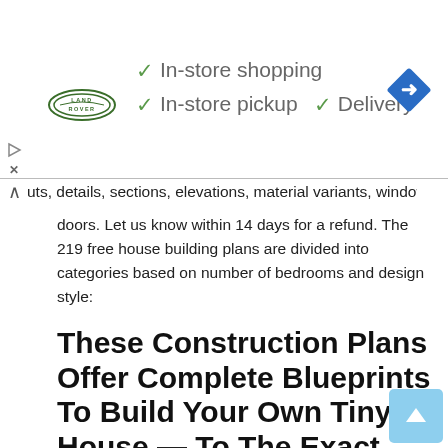[Figure (logo): Advertisement banner with Land Rover logo, checkmarks for In-store shopping, In-store pickup, Delivery, and a blue navigation/directions diamond icon]
uts, details, sections, elevations, material variants, windows, doors. Let us know within 14 days for a refund. The 219 free house building plans are divided into categories based on number of bedrooms and design style:
These Construction Plans Offer Complete Blueprints To Build Your Own Tiny House — To The Exact Same Specifications As Our Original Tiny Project House As Seen On This Website.
We are proud to present the widest selection of quality kits to build your small and tiny home, cabin, or yurt. Free delivery on printed tiny house plans. Perhaps no other tiny house in the world is more iconic than the minimotives tiny house designed by